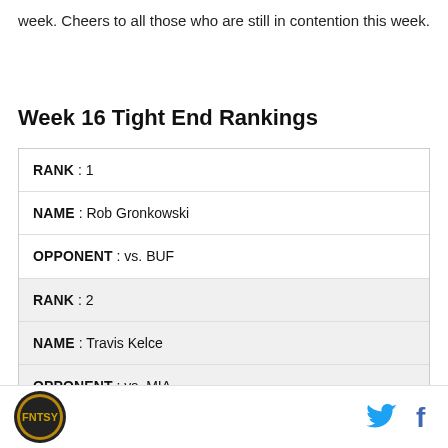week. Cheers to all those who are still in contention this week.
Week 16 Tight End Rankings
| RANK : 1 |
| NAME : Rob Gronkowski |
| OPPONENT : vs. BUF |
| RANK : 2 |
| NAME : Travis Kelce |
| OPPONENT : vs. MIA |
| RANK : 3 |
| NAME : Zach Ertz |